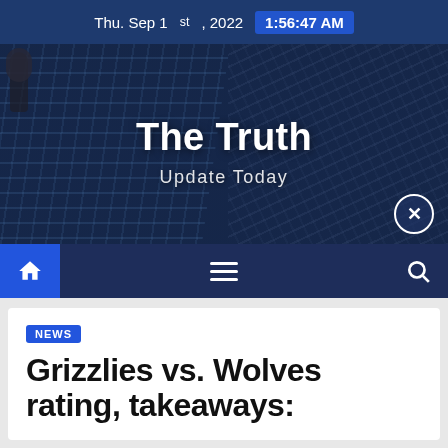Thu. Sep 1st, 2022  1:56:47 AM
[Figure (photo): Hero banner with city building glass facade background, titled 'The Truth' with subtitle 'Update Today']
The Truth
Update Today
NEWS
Grizzlies vs. Wolves rating, takeaways: